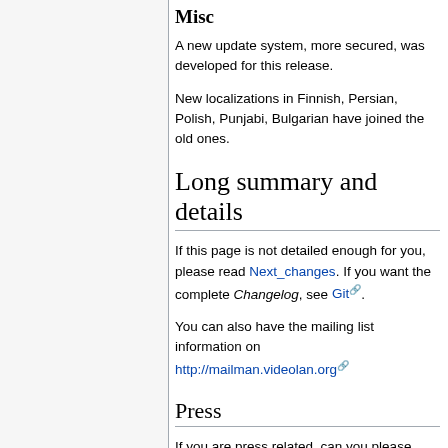Misc
A new update system, more secured, was developed for this release.
New localizations in Finnish, Persian, Polish, Punjabi, Bulgarian have joined the old ones.
Long summary and details
If this page is not detailed enough for you, please read Next_changes. If you want the complete Changelog, see Git.
You can also have the mailing list information on http://mailman.videolan.org
Press
If you are press related, can you please note a few things: